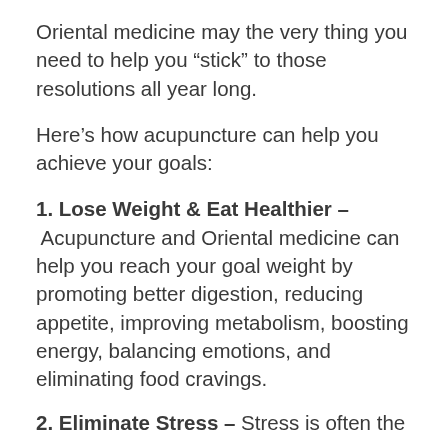Oriental medicine may the very thing you need to help you “stick” to those resolutions all year long.
Here’s how acupuncture can help you achieve your goals:
1. Lose Weight & Eat Healthier – Acupuncture and Oriental medicine can help you reach your goal weight by promoting better digestion, reducing appetite, improving metabolism, boosting energy, balancing emotions, and eliminating food cravings.
2. Eliminate Stress – Stress is often the